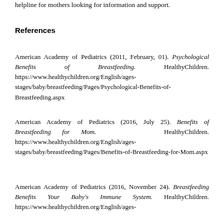helpline for mothers looking for information and support.
References
American Academy of Pediatrics (2011, February, 01). Psychological Benefits of Breastfeeding. HealthyChildren. https://www.healthychildren.org/English/ages-stages/baby/breastfeeding/Pages/Psychological-Benefits-of-Breastfeeding.aspx
American Academy of Pediatrics (2016, July 25). Benefits of Breastfeeding for Mom. HealthyChildren. https://www.healthychildren.org/English/ages-stages/baby/breastfeeding/Pages/Benefits-of-Breastfeeding-for-Mom.aspx
American Academy of Pediatrics (2016, November 24). Breastfeeding Benefits Your Baby's Immune System. HealthyChildren. https://www.healthychildren.org/English/ages-